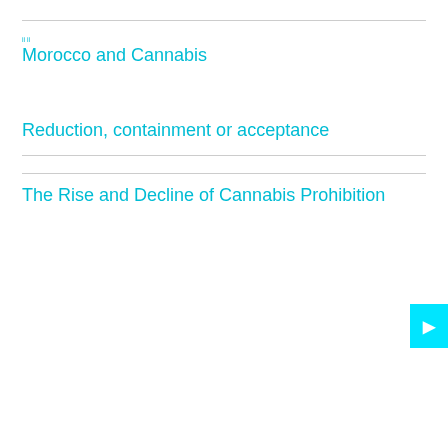Morocco and Cannabis
Reduction, containment or acceptance
The Rise and Decline of Cannabis Prohibition